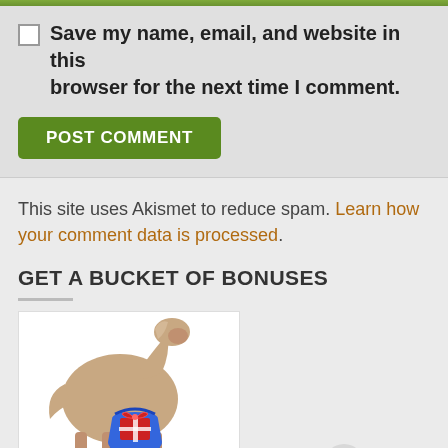Save my name, email, and website in this browser for the next time I comment.
POST COMMENT
This site uses Akismet to reduce spam. Learn how your comment data is processed.
GET A BUCKET OF BONUSES
[Figure (photo): A horse (foal) holding a blue bucket with a red gift bow on it]